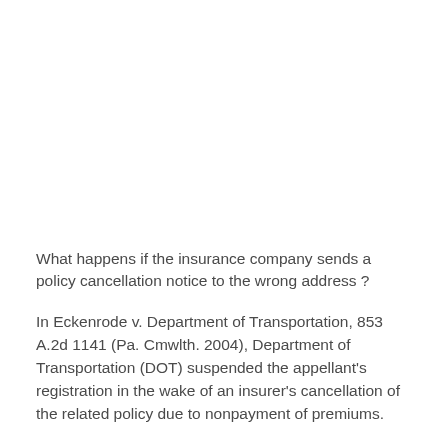What happens if the insurance company sends a policy cancellation notice to the wrong address ?
In Eckenrode v. Department of Transportation, 853 A.2d 1141 (Pa. Cmwlth. 2004), Department of Transportation (DOT) suspended the appellant's registration in the wake of an insurer's cancellation of the related policy due to nonpayment of premiums.